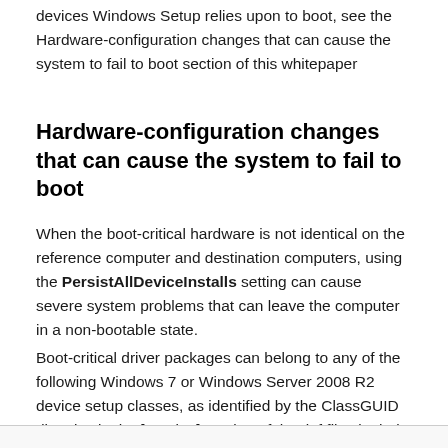devices Windows Setup relies upon to boot, see the Hardware-configuration changes that can cause the system to fail to boot section of this whitepaper
Hardware-configuration changes that can cause the system to fail to boot
When the boot-critical hardware is not identical on the reference computer and destination computers, using the PersistAllDeviceInstalls setting can cause severe system problems that can leave the computer in a non-bootable state.
Boot-critical driver packages can belong to any of the following Windows 7 or Windows Server 2008 R2 device setup classes, as identified by the ClassGUID directive in the [Version] section of the .inf files in their driver packages: